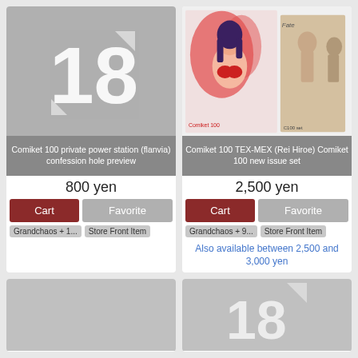[Figure (illustration): Age restriction placeholder image showing large '18' in white on gray background]
Comiket 100 private power station (flanvia) confession hole preview
800 yen
Cart
Favorite
Grandchaos + 1...
Store Front Item
[Figure (photo): Two manga/doujinshi covers side by side: left shows anime girl in red bikini with flame design background, right shows book cover with figures]
Comiket 100 TEX-MEX (Rei Hiroe) Comiket 100 new issue set
2,500 yen
Cart
Favorite
Grandchaos + 9...
Store Front Item
Also available between 2,500 and 3,000 yen
[Figure (illustration): Bottom left card, partially visible, light gray background]
[Figure (illustration): Bottom right card, partially visible, showing age restriction '18' icon on gray background]